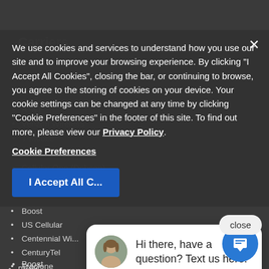Carriers
AT&T
Verizon Wireless
T-Mobile
Cellular One (Dobson)
We use cookies and services to understand how you use our site and to improve your browsing experience. By clicking "I Accept All Cookies", closing the bar, or continuing to browse, you agree to the storing of cookies on your device. Your cookie settings can be changed at any time by clicking "Cookie Preferences" in the footer of this site. To find out more, please view our Privacy Policy
Cookie Preferences
I Accept All Cookies
Boost
US Cellular
Centennial Wireless
CenturyTel
Tracfone
Cricket
ACS Alaska
[Figure (screenshot): Chat widget with female avatar photo showing message: Hi there, have a question? Text us here.]
close
Hi there, have a question? Text us here.